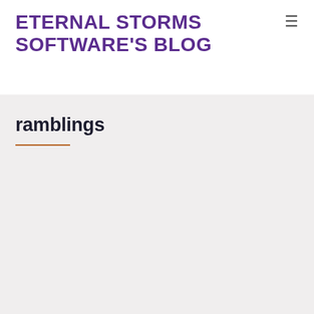ETERNAL STORMS SOFTWARE'S BLOG
ramblings